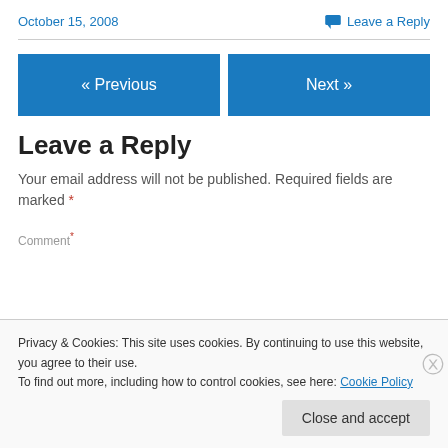October 15, 2008
Leave a Reply
« Previous
Next »
Leave a Reply
Your email address will not be published. Required fields are marked *
Privacy & Cookies: This site uses cookies. By continuing to use this website, you agree to their use.
To find out more, including how to control cookies, see here: Cookie Policy
Close and accept